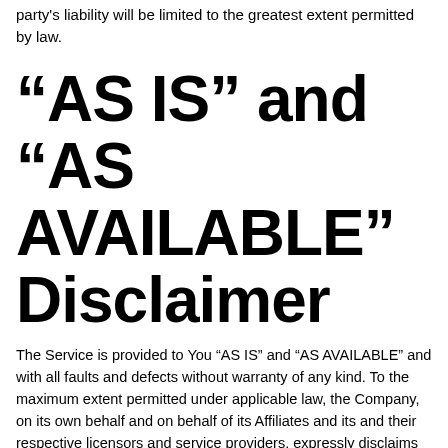party's liability will be limited to the greatest extent permitted by law.
“AS IS” and “AS AVAILABLE” Disclaimer
The Service is provided to You “AS IS” and “AS AVAILABLE” and with all faults and defects without warranty of any kind. To the maximum extent permitted under applicable law, the Company, on its own behalf and on behalf of its Affiliates and its and their respective licensors and service providers, expressly disclaims all warranties, whether express, implied, statutory or otherwise, with respect to the Service, including all implied warranties of merchantability,